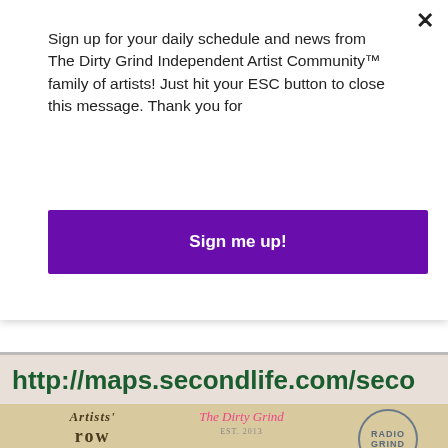Sign up for your daily schedule and news from The Dirty Grind Independent Artist Community™ family of artists! Just hit your ESC button to close this message. Thank you for
Sign me up!
http://maps.secondlife.com/seco
[Figure (illustration): Event poster for The Dirty Grind / Artists Row Galleries featuring performers Dee Timeless (3p), Luis Indigo (4p), and a third performer (5p), on Wednesday 17 August, with vintage-style design on a tan/parchment background.]